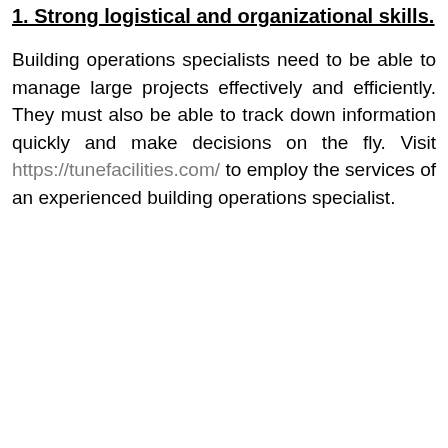1. Strong logistical and organizational skills.
Building operations specialists need to be able to manage large projects effectively and efficiently. They must also be able to track down information quickly and make decisions on the fly. Visit https://tunefacilities.com/ to employ the services of an experienced building operations specialist.